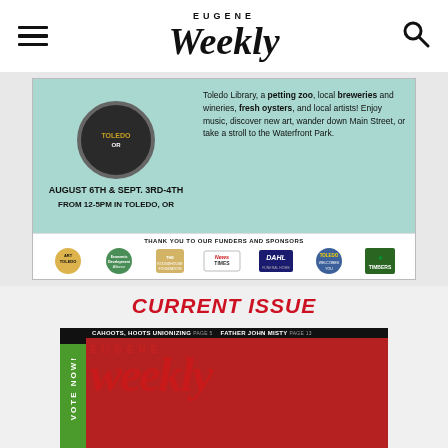Eugene Weekly
[Figure (photo): Advertisement for Toledo Art Walk event on August 6th & Sept. 3rd-4th from 12-5PM in Toledo, OR. Features teal/mint background with event details about Toledo Library, petting zoo, local breweries and wineries, fresh oysters, and local artists. Bottom section shows sponsor logos including Art Toledo, Economic Development Alliance, The Roundhouse Foundation, News Times, Dahl, Toledo Welcomes You, and Timbers.]
CURRENT ISSUE
[Figure (photo): Eugene Weekly magazine cover with red background. Left side has green vertical bar with 'VOTE NOW!' text. Top black bar reads 'CAHOOTS, HOOTS UNIONIZING PAGE 5  FATHER JOHN MISTY PAGE 13'. Large red Eugene Weekly logo text visible. A performer wearing holographic/iridescent costume with green hair visible at bottom.]